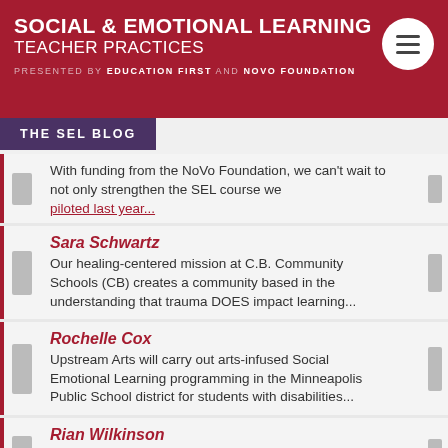SOCIAL & EMOTIONAL LEARNING TEACHER PRACTICES PRESENTED BY EDUCATION FIRST AND NOVO FOUNDATION
THE SEL BLOG
With funding from the NoVo Foundation, we can't wait to not only strengthen the SEL course we piloted last year...
Sara Schwartz
Our healing-centered mission at C.B. Community Schools (CB) creates a community based in the understanding that trauma DOES impact learning...
Rochelle Cox
Upstream Arts will carry out arts-infused Social Emotional Learning programming in the Minneapolis Public School district for students with disabilities...
Rian Wilkinson
This project, titled "Tell Me Your Story" will provide our students and parents of IS 254 Bronx Middle...